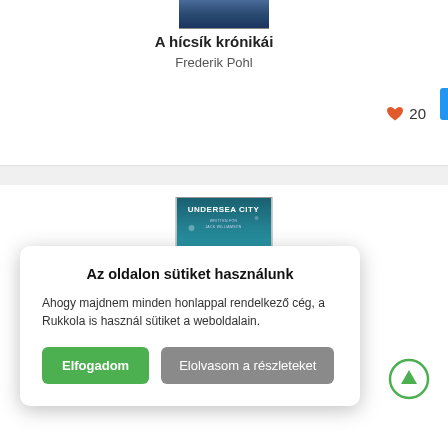[Figure (photo): Book cover image top portion (partially visible, dark blue tones)]
A hícsík krónikái
Frederik Pohl
♥ 20
[Figure (photo): Book cover for 'Undersea City' with teal underwater sci-fi scene]
Az oldalon sütiket használunk
Ahogy majdnem minden honlappal rendelkező cég, a Rukkola is használ sütiket a weboldalain.
Elfogadom
Elolvasom a részleteket